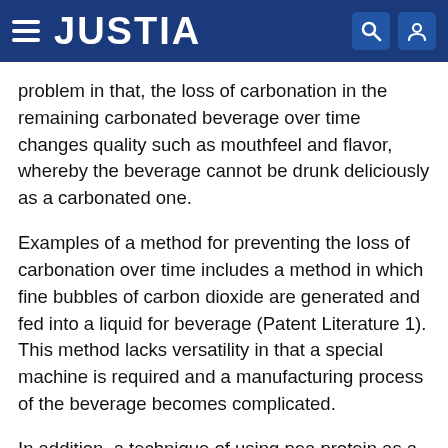JUSTIA
problem in that, the loss of carbonation in the remaining carbonated beverage over time changes quality such as mouthfeel and flavor, whereby the beverage cannot be drunk deliciously as a carbonated one.
Examples of a method for preventing the loss of carbonation over time includes a method in which fine bubbles of carbon dioxide are generated and fed into a liquid for beverage (Patent Literature 1). This method lacks versatility in that a special machine is required and a manufacturing process of the beverage becomes complicated.
In addition, a technique of using pea protein as a substance for improving foam generation and foam stability of a beer-taste sparkling alcoholic beverage is